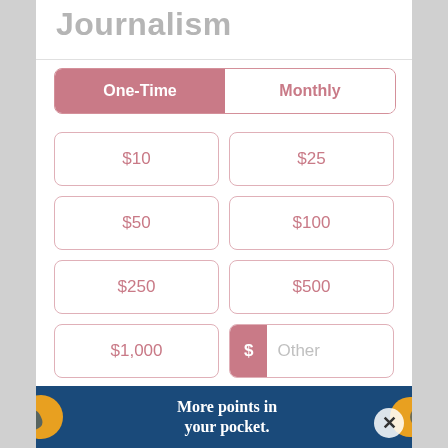Journalism
One-Time | Monthly (toggle selector)
$10
$25
$50
$100
$250
$500
$1,000
$ Other
+ Add a message
[Figure (other): Advertisement banner: blue background with orange circle accents, text 'More points in your pocket.' with a close X button.]